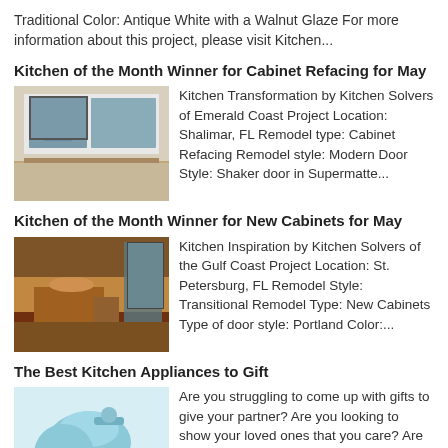Traditional Color: Antique White with a Walnut Glaze For more information about this project, please visit Kitchen...
Kitchen of the Month Winner for Cabinet Refacing for May
[Figure (photo): Photo of kitchen with white cabinets and window above sink]
Kitchen Transformation by Kitchen Solvers of Emerald Coast Project Location: Shalimar, FL Remodel type: Cabinet Refacing Remodel style: Modern Door Style: Shaker door in Supermatte...
Kitchen of the Month Winner for New Cabinets for May
[Figure (photo): Photo of kitchen with warm brown cabinets and island, Gulf Coast]
Kitchen Inspiration by Kitchen Solvers of the Gulf Coast Project Location: St. Petersburg, FL Remodel Style: Transitional Remodel Type: New Cabinets Type of door style: Portland Color:...
The Best Kitchen Appliances to Gift
[Figure (photo): Photo of light blue stand mixer kitchen appliance]
Are you struggling to come up with gifts to give your partner? Are you looking to show your loved ones that you care? Are you searching for the